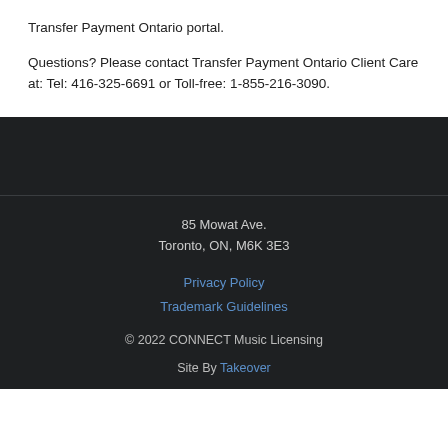Transfer Payment Ontario portal. Questions? Please contact Transfer Payment Ontario Client Care at: Tel: 416-325-6691 or Toll-free: 1-855-216-3090.
85 Mowat Ave.
Toronto, ON, M6K 3E3
Privacy Policy
Trademark Guidelines
© 2022 CONNECT Music Licensing
Site By Takeover